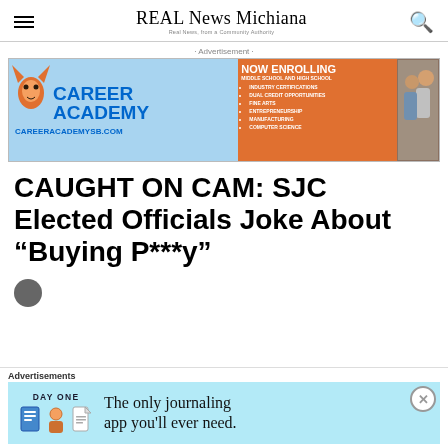REAL News Michiana
[Figure (illustration): Career Academy advertisement banner with fox mascot logo, blue and orange background, text: CAREER ACADEMY, CAREERACADEMYSB.COM, NOW ENROLLING MIDDLE SCHOOL AND HIGH SCHOOL, with bullet points: Industry Certifications, Dual Credit Opportunities, Fine Arts, Entrepreneurship, Manufacturing, Computer Science]
CAUGHT ON CAM: SJC Elected Officials Joke About “Buying P***y”
[Figure (illustration): Day One journaling app advertisement with light blue background, icons of a notebook, person, and document, text: DAY ONE - The only journaling app you'll ever need.]